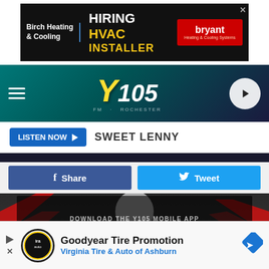[Figure (screenshot): Advertisement banner: Birch Heating & Cooling — HIRING HVAC INSTALLER with Bryant logo]
[Figure (screenshot): Y105 radio station navigation bar with hamburger menu, Y105 logo, and play button]
LISTEN NOW ▶  SWEET LENNY
[Figure (screenshot): Facebook Share button and Twitter Tweet button]
[Figure (photo): Man in suit with dark background and red chevron graphics, overlay showing DOWNLOAD THE Y105 MOBILE APP and GET OUR FREE MOBILE APP button]
[Figure (screenshot): Goodyear Tire Promotion advertisement — Virginia Tire & Auto of Ashburn with logo and navigation icon. Text partially cut off: 'y|Images']